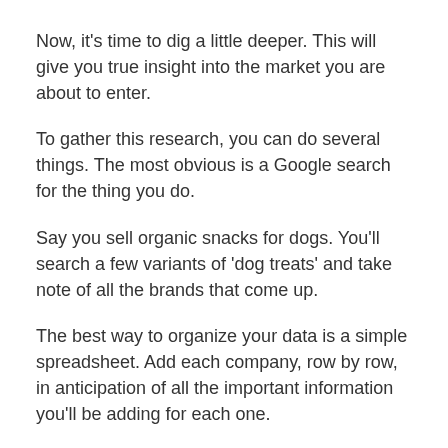Now, it's time to dig a little deeper. This will give you true insight into the market you are about to enter.
To gather this research, you can do several things. The most obvious is a Google search for the thing you do.
Say you sell organic snacks for dogs. You'll search a few variants of 'dog treats' and take note of all the brands that come up.
The best way to organize your data is a simple spreadsheet. Add each company, row by row, in anticipation of all the important information you'll be adding for each one.
For some, this will be exciting. For others, tedious. It will earn dividends in the long run though.
With all these companies laid out (strive for 10), you can dig into each one and pull out valuable information. You want to know where they are, what they do well, what their weaknesses are, what channels they focus on, etc.